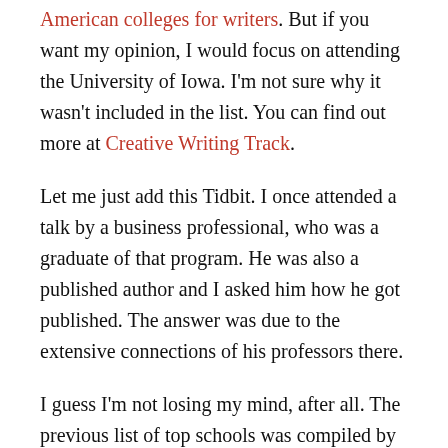American colleges for writers. But if you want my opinion, I would focus on attending the University of Iowa. I'm not sure why it wasn't included in the list. You can find out more at Creative Writing Track.
Let me just add this Tidbit. I once attended a talk by a business professional, who was a graduate of that program. He was also a published author and I asked him how he got published. The answer was due to the extensive connections of his professors there.
I guess I'm not losing my mind, after all. The previous list of top schools was compiled by USA Today. But another list compiled by Education-Portal at Best